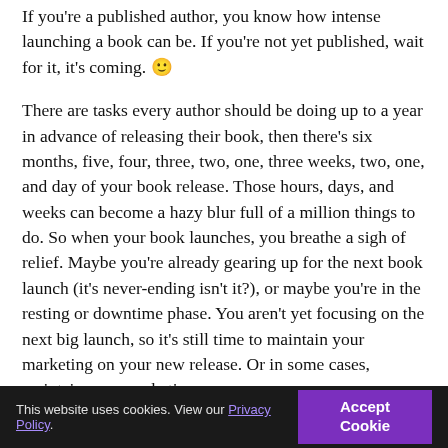If you're a published author, you know how intense launching a book can be. If you're not yet published, wait for it, it's coming. 🙂
There are tasks every author should be doing up to a year in advance of releasing their book, then there's six months, five, four, three, two, one, three weeks, two, one, and day of your book release. Those hours, days, and weeks can become a hazy blur full of a million things to do. So when your book launches, you breathe a sigh of relief. Maybe you're already gearing up for the next book launch (it's never-ending isn't it?), or maybe you're in the resting or downtime phase. You aren't yet focusing on the next big launch, so it's still time to maintain your marketing on your new release. Or in some cases, maintain your marketing on
This website uses cookies. View our Privacy Policy. [Accept Cookie button]